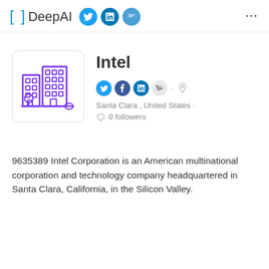[ ] DeepAI  ...
[Figure (logo): DeepAI website header with logo showing brackets [ ] and text DeepAI, with Twitter, LinkedIn, and chat social media icons, and a ... menu]
Intel
[Figure (illustration): Purple line-art illustration of office buildings with trees, inside a rounded rectangle box]
Santa Clara , United States · 0 followers
9635389 Intel Corporation is an American multinational corporation and technology company headquartered in Santa Clara, California, in the Silicon Valley.